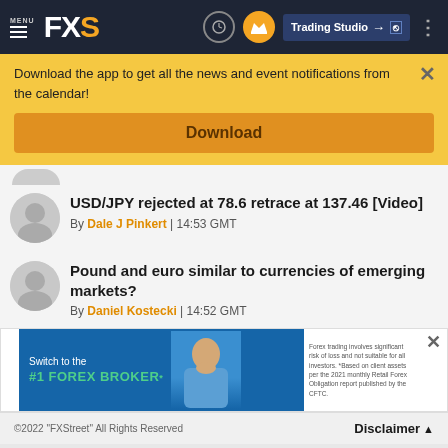FXS - Trading Studio
Download the app to get all the news and event notifications from the calendar!
Download
USD/JPY rejected at 78.6 retrace at 137.46 [Video] By Dale J Pinkert | 14:53 GMT
Pound and euro similar to currencies of emerging markets? By Daniel Kostecki | 14:52 GMT
[Figure (screenshot): Advertisement banner for #1 Forex Broker with disclaimer text about Forex trading risks]
©2022 "FXStreet" All Rights Reserved   Disclaimer